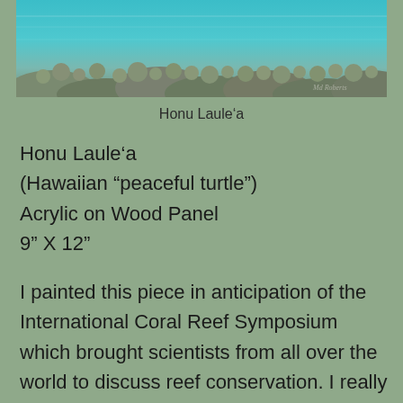[Figure (photo): Painting of a coral reef scene with teal/turquoise water and coral formations, with an artist signature in the lower right corner.]
Honu Laule‘a
Honu Laule‘a
(Hawaiian “peaceful turtle”)
Acrylic on Wood Panel
9” X 12”
I painted this piece in anticipation of the International Coral Reef Symposium which brought scientists from all over the world to discuss reef conservation. I really wanted to paint a reef scene that looked like what I saw when I dive off Oahu with our familiar corals